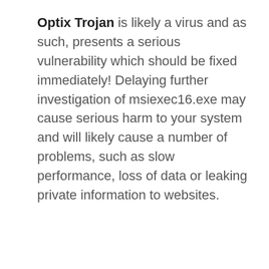Optix Trojan is likely a virus and as such, presents a serious vulnerability which should be fixed immediately! Delaying further investigation of msiexec16.exe may cause serious harm to your system and will likely cause a number of problems, such as slow performance, loss of data or leaking private information to websites.